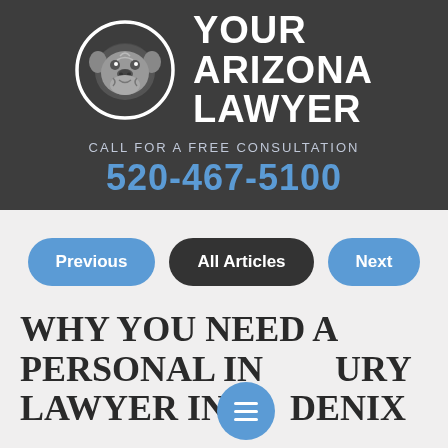[Figure (logo): Your Arizona Lawyer logo: bulldog head in white circle on dark background with firm name text]
CALL FOR A FREE CONSULTATION
520-467-5100
Previous
All Articles
Next
WHY YOU NEED A PERSONAL INJURY LAWYER IN PHOENIX